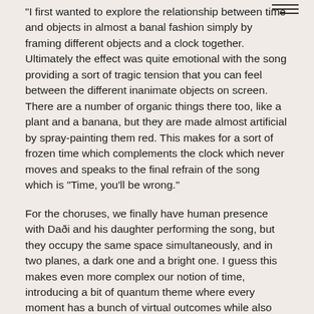"I first wanted to explore the relationship between time and objects in almost a banal fashion simply by framing different objects and a clock together. Ultimately the effect was quite emotional with the song providing a sort of tragic tension that you can feel between the different inanimate objects on screen. There are a number of organic things there too, like a plant and a banana, but they are made almost artificial by spray-painting them red. This makes for a sort of frozen time which complements the clock which never moves and speaks to the final refrain of the song which is “Time, you'll be wrong.”
For the choruses, we finally have human presence with Daði and his daughter performing the song, but they occupy the same space simultaneously, and in two planes, a dark one and a bright one. I guess this makes even more complex our notion of time, introducing a bit of quantum theme where every moment has a bunch of virtual outcomes while also speaking to the theme of repetition in the lyrics."
Director: Atli Bollason
Camera: Timothée Lambrecq
Editors: Atli Bollason & Timothée Lambrecq
Additional post-production: Andrea Björk Andrésdóttir
Music and mixing by: DAÐI